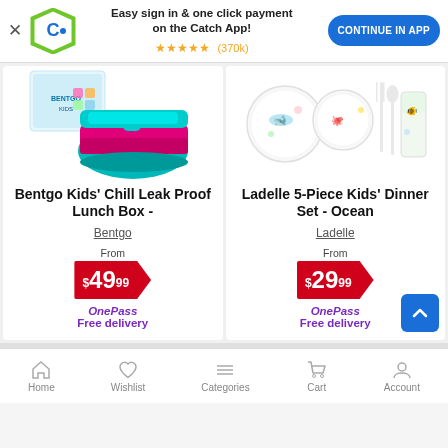[Figure (screenshot): Catch app promotional banner with logo, star rating (370k), and Continue in App button]
[Figure (photo): Bentgo Kids' Chill Leak Proof Lunch Box product image - pink and teal lunchbox]
Bentgo Kids' Chill Leak Proof Lunch Box -
Bentgo
From $49.99
OnePass Free delivery
[Figure (photo): Ladelle 5-Piece Kids' Dinner Set - Ocean product image - white dishes with ocean animals]
Ladelle 5-Piece Kids' Dinner Set - Ocean
Ladelle
From $29.99
OnePass Free delivery
Home | Wishlist | Categories | Cart | Account